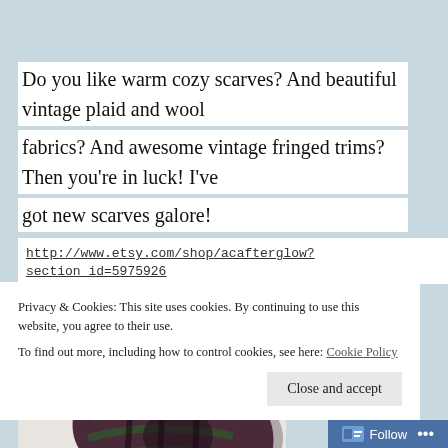Do you like warm cozy scarves? And beautiful vintage plaid and wool fabrics? And awesome vintage fringed trims? Then you're in luck! I've got new scarves galore!
http://www.etsy.com/shop/acafterglow?section_id=5975926
[Figure (photo): A plaid scarf in dark red, green, and black tartan pattern, folded/looped on a light background]
Privacy & Cookies: This site uses cookies. By continuing to use this website, you agree to their use. To find out more, including how to control cookies, see here: Cookie Policy
Close and accept
Follow